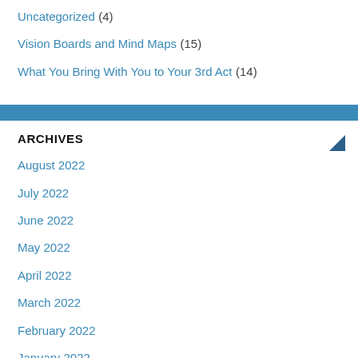Uncategorized (4)
Vision Boards and Mind Maps (15)
What You Bring With You to Your 3rd Act (14)
ARCHIVES
August 2022
July 2022
June 2022
May 2022
April 2022
March 2022
February 2022
January 2022
December 2021